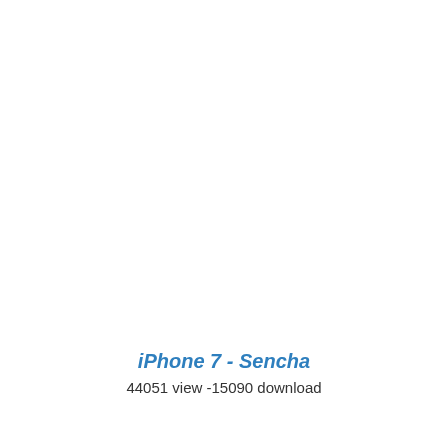iPhone 7 - Sencha
44051 view -15090 download